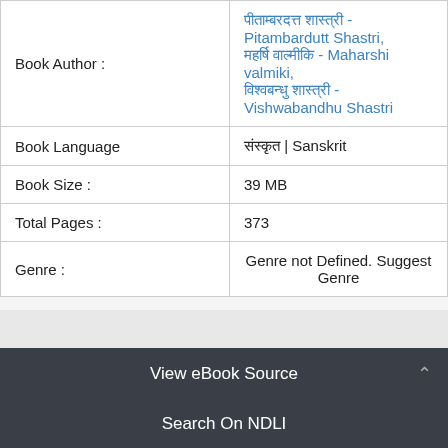| Field | Value |
| --- | --- |
| Book Author : | पीताम्बरदत्त शास्त्री - Pitambardutt Shastri,
महर्षि वाल्मीकि - Maharshi valmiki,
विश्वबन्धु शास्त्री - Vishwabandhu Shastri |
| Book Language | संस्कृत | Sanskrit |
| Book Size : | 39 MB |
| Total Pages : | 373 |
| Genre : | Genre not Defined. Suggest Genre |
View eBook Source
Search On NDLI